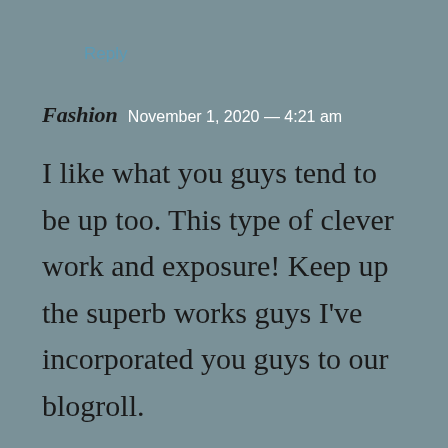Reply
Fashion  November 1, 2020 — 4:21 am
I like what you guys tend to be up too. This type of clever work and exposure! Keep up the superb works guys I've incorporated you guys to our blogroll.